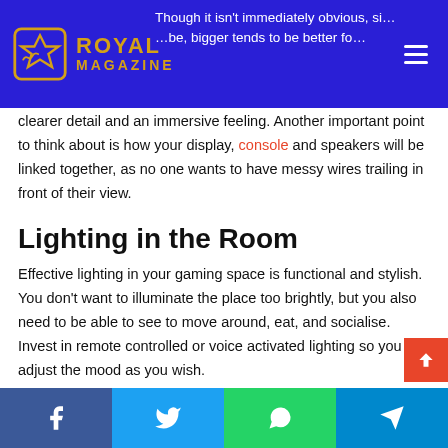Royal Magazine
Though it isn't immediately obvious, size matters. Bigger tends to be better for clearer detail and an immersive feeling. Another important point to think about is how your display, console and speakers will be linked together, as no one wants to have messy wires trailing in front of their view.
Lighting in the Room
Effective lighting in your gaming space is functional and stylish. You don't want to illuminate the place too brightly, but you also need to be able to see to move around, eat, and socialise. Invest in remote controlled or voice activated lighting so you can adjust the mood as you wish.
With these tips you're good to go. Have fun setting up your
Facebook Twitter WhatsApp Telegram